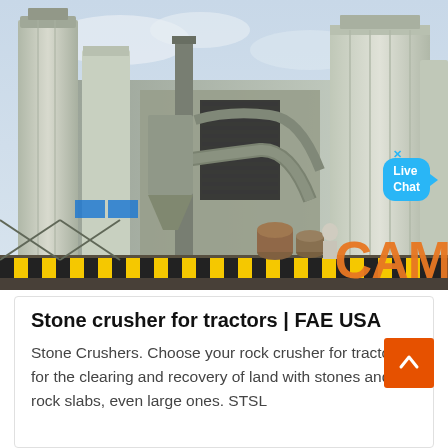[Figure (photo): Industrial stone crushing plant with large vertical silos, pipes, dust collectors, and yellow-black hazard striped barriers in the foreground. A 'Live Chat' bubble overlay appears in the upper right area, along with an orange 'CAM' logo watermark.]
Stone crusher for tractors | FAE USA
Stone Crushers. Choose your rock crusher for tractor, for the clearing and recovery of land with stones and rock slabs, even large ones. STSL...